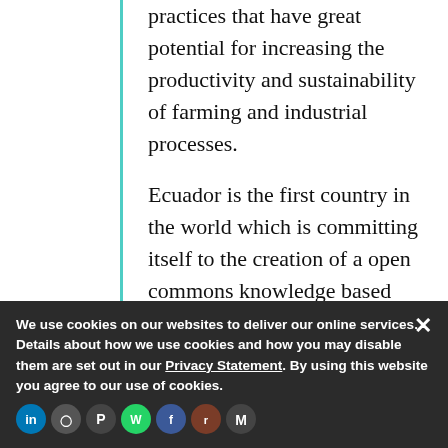practices that have great potential for increasing the productivity and sustainability of farming and industrial processes.
Ecuador is the first country in the world which is committing itself to the creation of a open commons knowledge based society. In order to achieve the transition to a buen saber, or 'good knowledge' society, which is an extension of the official strategy towards a buen vivir-based society, the Advanced Studies Institute (IAEN, by its Spanish initials) in...
We use cookies on our websites to deliver our online services. Details about how we use cookies and how you may disable them are set out in our Privacy Statement. By using this website you agree to our use of cookies.